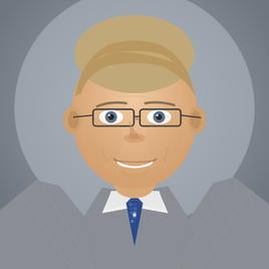[Figure (photo): Professional headshot of a middle-aged man with short light brown/grey hair, wearing rectangular wire-frame glasses, a grey plaid suit jacket, white dress shirt, and a blue patterned tie. He is smiling at the camera against a grey gradient background.]